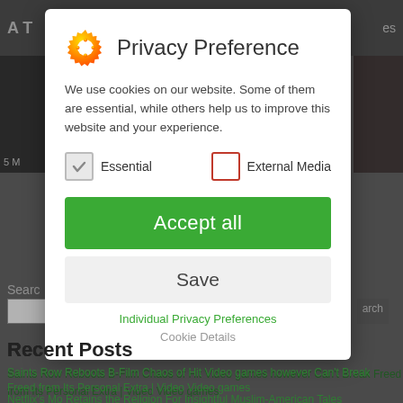[Figure (screenshot): Website background with darkened overlay showing partial content: top navigation bar, image thumbnails, search area, and Recent Posts section with green links.]
Privacy Preference
We use cookies on our website. Some of them are essential, while others help us to improve this website and your experience.
Essential (checked) | External Media (unchecked)
Accept all
Save
Individual Privacy Preferences
Cookie Details
Recent Posts
Saints Row Reboots B-Film Chaos of Hit Video games however Can't Break Freed from Its Personal Extra | Video Video games
Netflix's Mo Retains the Religion For Insightful Muslim-American Tales